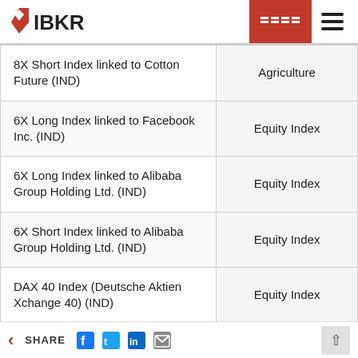IBKR
|  |  |
| --- | --- |
| 8X Short Index linked to Cotton Future (IND) | Agriculture |
| 6X Long Index linked to Facebook Inc. (IND) | Equity Index |
| 6X Long Index linked to Alibaba Group Holding Ltd. (IND) | Equity Index |
| 6X Short Index linked to Alibaba Group Holding Ltd. (IND) | Equity Index |
| DAX 40 Index (Deutsche Aktien Xchange 40) (IND) | Equity Index |
| Midcap DAX (IND) | Equity Index |
| NASDAQ 100 Stock Index (IND) | Equity Index |
SHARE